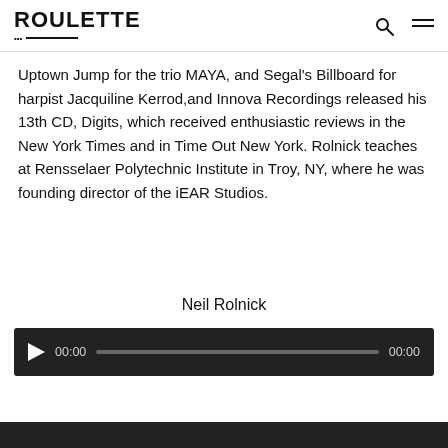ROULETTE
Uptown Jump for the trio MAYA, and Segal's Billboard for harpist Jacquiline Kerrod,and Innova Recordings released his 13th CD, Digits, which received enthusiastic reviews in the New York Times and in Time Out New York. Rolnick teaches at Rensselaer Polytechnic Institute in Troy, NY, where he was founding director of the iEAR Studios.
Neil Rolnick
[Figure (other): Audio player with play button, time display 00:00, progress bar, and duration 00:00 on a dark background]